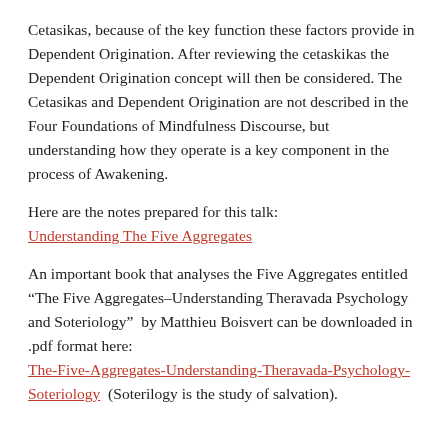Cetasikas, because of the key function these factors provide in Dependent Origination.  After reviewing the cetaskikas the Dependent Origination concept will then be considered.  The Cetasikas and Dependent Origination are not described in the Four Foundations of Mindfulness Discourse, but understanding how they operate is a key component in the process of Awakening.
Here are the notes prepared for this talk: Understanding The Five Aggregates
An important book that analyses the Five Aggregates entitled “The Five Aggregates–Understanding Theravada Psychology and Soteriology”  by Matthieu Boisvert can be downloaded in .pdf format here: The-Five-Aggregates-Understanding-Theravada-Psychology-Soteriology  (Soterilogy is the study of salvation).